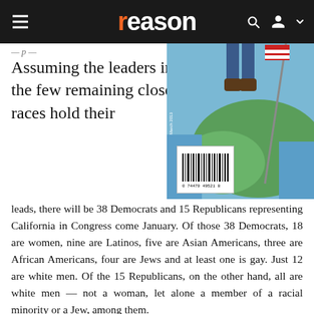reason
Assuming the leaders in the few remaining close races hold their leads, there will be 38 Democrats and 15 Republicans representing California in Congress come January. Of those 38 Democrats, 18 are women, nine are Latinos, five are Asian Americans, three are African Americans, four are Jews and at least one is gay. Just 12 are white men. Of the 15 Republicans, on the other hand, all are white men — not a woman, let alone a member of a racial minority or a Jew, among them.
[Figure (photo): Magazine cover showing a person standing on a map, holding a pole with an American flag, with a barcode overlay in the lower left corner of the image]
The composition of the state's new Democratic